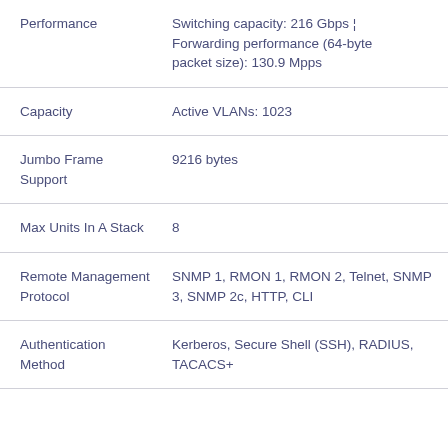| Feature | Value |
| --- | --- |
| Performance | Switching capacity: 216 Gbps ¦ Forwarding performance (64-byte packet size): 130.9 Mpps |
| Capacity | Active VLANs: 1023 |
| Jumbo Frame Support | 9216 bytes |
| Max Units In A Stack | 8 |
| Remote Management Protocol | SNMP 1, RMON 1, RMON 2, Telnet, SNMP 3, SNMP 2c, HTTP, CLI |
| Authentication Method | Kerberos, Secure Shell (SSH), RADIUS, TACACS+ |